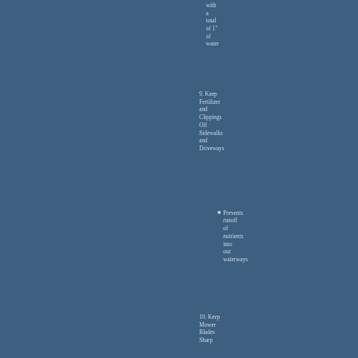with a total of 1" of water
9. Keep Fertilizer and Clippings Off Sidewalks and Driveways
Prevents runoff of nutrients into our waterways
10. Keep Mower Blades Sharp